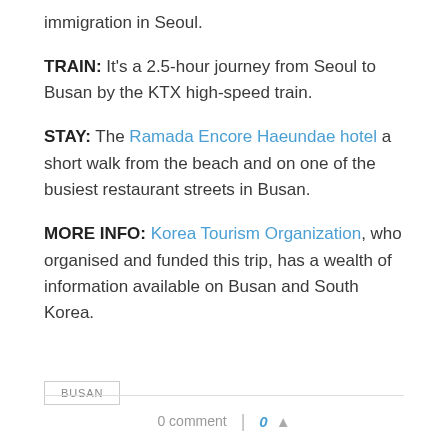immigration in Seoul.
TRAIN: It's a 2.5-hour journey from Seoul to Busan by the KTX high-speed train.
STAY: The Ramada Encore Haeundae hotel a short walk from the beach and on one of the busiest restaurant streets in Busan.
MORE INFO: Korea Tourism Organization, who organised and funded this trip, has a wealth of information available on Busan and South Korea.
BUSAN
0 comment | 0